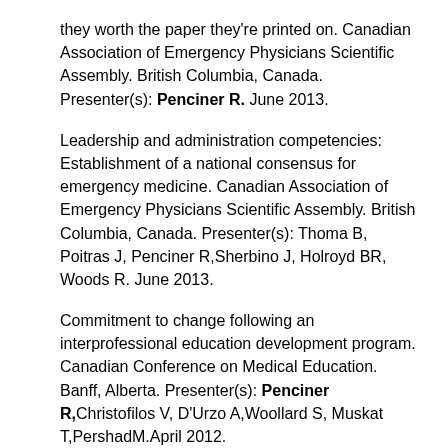they worth the paper they're printed on. Canadian Association of Emergency Physicians Scientific Assembly. British Columbia, Canada. Presenter(s): Penciner R. June 2013.
Leadership and administration competencies: Establishment of a national consensus for emergency medicine. Canadian Association of Emergency Physicians Scientific Assembly. British Columbia, Canada. Presenter(s): Thoma B, Poitras J, Penciner R,Sherbino J, Holroyd BR, Woods R. June 2013.
Commitment to change following an interprofessional education development program. Canadian Conference on Medical Education. Banff, Alberta. Presenter(s): Penciner R,Christofilos V, D'Urzo A,Woollard S, Muskat T,PershadM.April 2012.
Evaluation of an interprofessional education teacher development program at a community teaching hospital. Canadian Conference on Medical Education. Banff, Alberta. Presenter(s): Penciner R, Christofilos V,